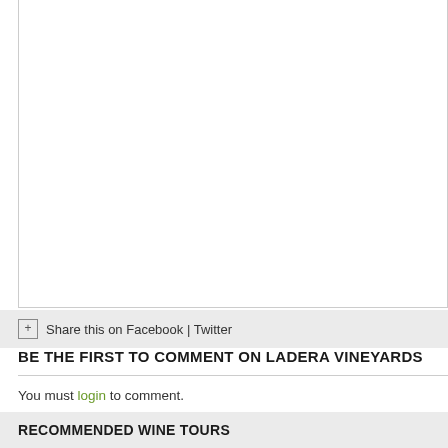Share this on Facebook | Twitter
BE THE FIRST TO COMMENT ON LADERA VINEYARDS
You must login to comment.
RECOMMENDED WINE TOURS